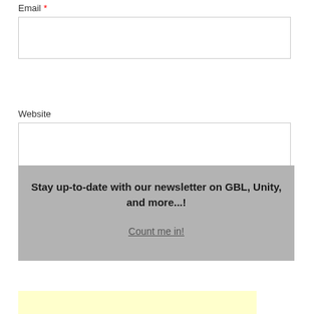Email *
[Figure (screenshot): Empty email input text field with border]
Website
[Figure (screenshot): Empty website input text field with border]
[Figure (screenshot): Post Comment button with light gray background]
Stay up-to-date with our newsletter on GBL, Unity, and more...!
Count me in!
[Figure (other): Light yellow box at bottom of page]